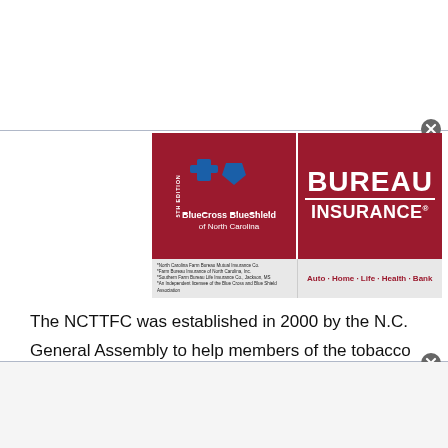[Figure (logo): Farm Bureau Insurance and BlueCross BlueShield of North Carolina co-branded advertisement banner. Left side shows BlueCross BlueShield of North Carolina logo on dark red background. Right side shows BUREAU INSURANCE in white bold text on dark red background. Bottom strip in light gray shows footnotes on left and 'Auto · Home · Life · Health · Bank' tagline on right.]
The NCTTFC was established in 2000 by the N.C. General Assembly to help members of the tobacco community including farmers, tobacco workers and related businesses. Its original funding was established through tobacco industry annual payments as a result of the Master Settlement Agreement. Funding is now appropriated to the NCTTFC which then reviews, selects and disperses the funds to grant projects.